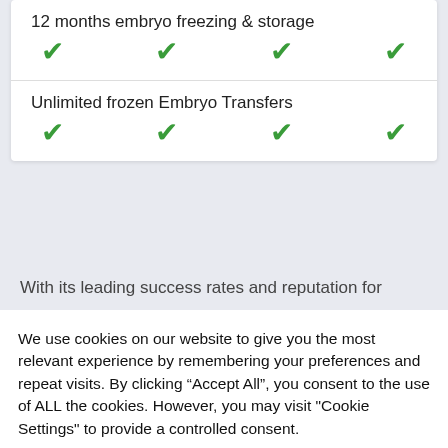12 months embryo freezing & storage — checkmarks for 4 columns
Unlimited frozen Embryo Transfers — checkmarks for 4 columns
With its leading success rates and reputation for
We use cookies on our website to give you the most relevant experience by remembering your preferences and repeat visits. By clicking “Accept All”, you consent to the use of ALL the cookies. However, you may visit "Cookie Settings" to provide a controlled consent.
Cookie Settings | Accept All